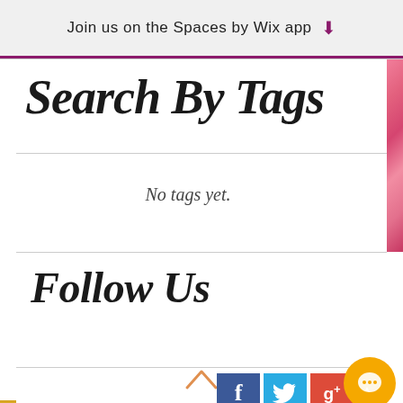Join us on the Spaces by Wix app
Search By Tags
No tags yet.
Follow Us
[Figure (logo): Social media icons: Facebook (f), Twitter (bird), Google+ (g+), and a gold circular chat button]
[Figure (illustration): Pink decorative mosaic strip on right side]
[Figure (illustration): Gold glitter decorative strip on left side]